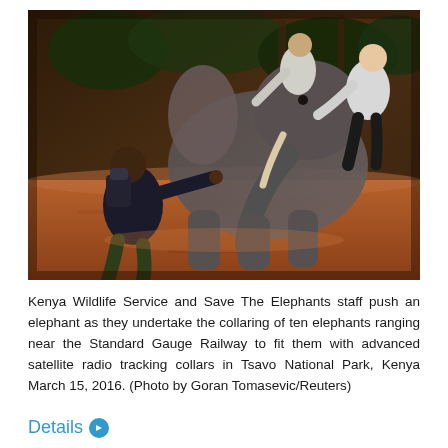[Figure (photo): Kenya Wildlife Service and Save The Elephants staff push an elephant during a collaring operation near the Standard Gauge Railway in Tsavo National Park, Kenya. Several people are seen pushing against the large elephant on red dirt ground.]
Kenya Wildlife Service and Save The Elephants staff push an elephant as they undertake the collaring of ten elephants ranging near the Standard Gauge Railway to fit them with advanced satellite radio tracking collars in Tsavo National Park, Kenya March 15, 2016. (Photo by Goran Tomasevic/Reuters)
Details ▶